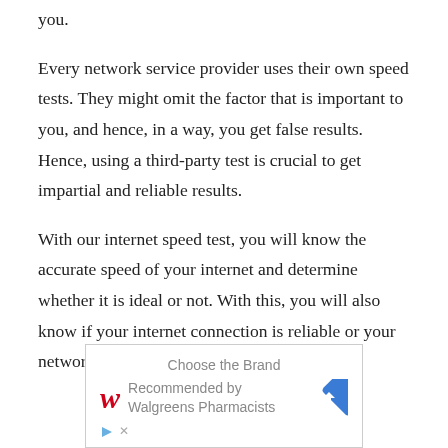you.
Every network service provider uses their own speed tests. They might omit the factor that is important to you, and hence, in a way, you get false results. Hence, using a third-party test is crucial to get impartial and reliable results.
With our internet speed test, you will know the accurate speed of your internet and determine whether it is ideal or not. With this, you will also know if your internet connection is reliable or your network service provider is overcharging you.
[Figure (infographic): Advertisement box for Walgreens: 'Choose the Brand Recommended by Walgreens Pharmacists' with Walgreens logo and a blue diamond navigation arrow icon on the right.]